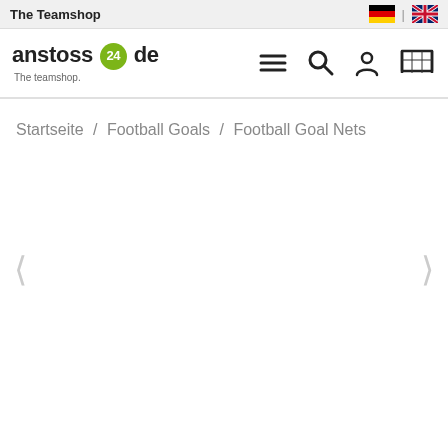The Teamshop
[Figure (logo): anstoss24.de The teamshop logo with green circle containing '24']
Startseite / Football Goals / Football Goal Nets